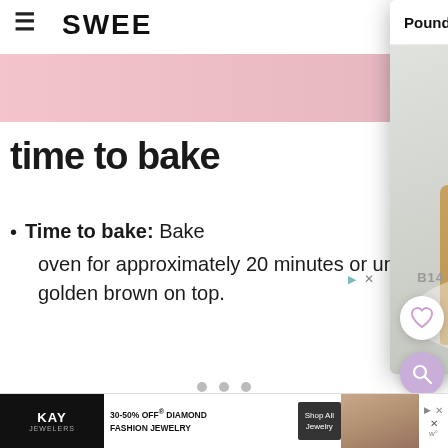≡  SWEE
[Figure (screenshot): Pink background strip at top of page]
time to bake
Time to bake: Bake in oven for approximately 20 minutes or until golden brown on top.
[Figure (photo): Modal dialog showing 'Pound Cake' with photo of sliced pound cake topped with whipped cream and raspberries on a plate]
[Figure (screenshot): B14 label, heart favorite button (white circle), and purple search button floating on right side]
[Figure (other): Three pagination dots at bottom]
[Figure (screenshot): Kay Jewelers advertisement banner at bottom: '30-50% OFF DIAMOND FASHION JEWELRY' with Shop All Jewelry button]